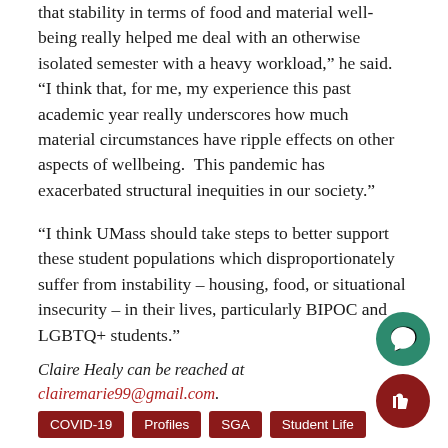that stability in terms of food and material well-being really helped me deal with an otherwise isolated semester with a heavy workload,” he said. “I think that, for me, my experience this past academic year really underscores how much material circumstances have ripple effects on other aspects of wellbeing.  This pandemic has exacerbated structural inequities in our society.”
“I think UMass should take steps to better support these student populations which disproportionately suffer from instability – housing, food, or situational insecurity – in their lives, particularly BIPOC and LGBTQ+ students.”
Claire Healy can be reached at clairemarie99@gmail.com.
COVID-19 | Profiles | SGA | Student Life